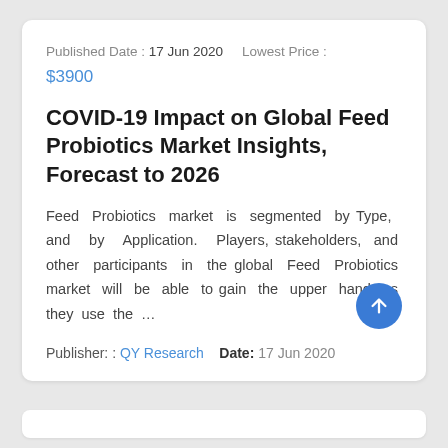Published Date : 17 Jun 2020   Lowest Price : $3900
COVID-19 Impact on Global Feed Probiotics Market Insights, Forecast to 2026
Feed Probiotics market is segmented by Type, and by Application. Players, stakeholders, and other participants in the global Feed Probiotics market will be able to gain the upper hand as they use the …
Publisher: : QY Research   Date: 17 Jun 2020